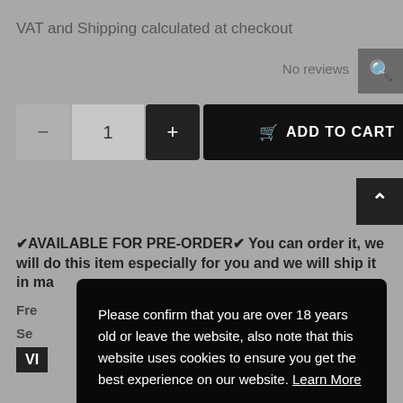VAT and Shipping calculated at checkout
☆☆☆☆☆   No reviews
[Figure (screenshot): E-commerce product page showing minus button, quantity 1, plus button, and ADD TO CART button]
✔AVAILABLE FOR PRE-ORDER✔ You can order it, we will do this item especially for you and we will ship it in ma...
Fre...
Se...
VI...
Please confirm that you are over 18 years old or leave the website, also note that this website uses cookies to ensure you get the best experience on our website. Learn More
Decline
Yes and a   Help